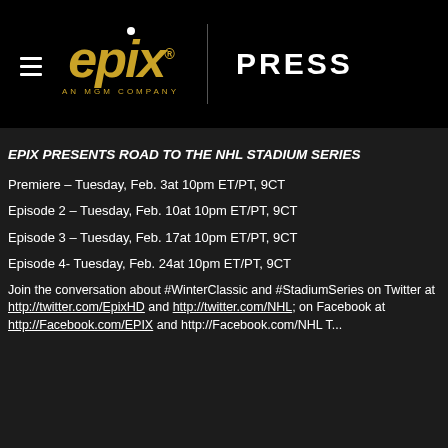[Figure (logo): EPIX Press logo — EPIX in gold italic letters with white dot above the i, 'AN MGM COMPANY' subtitle in gold, vertical divider, 'PRESS' in white on black background. Hamburger menu icon on the left.]
EPIX PRESENTS ROAD TO THE NHL STADIUM SERIES
Premiere – Tuesday, Feb. 3at 10pm ET/PT, 9CT
Episode 2 – Tuesday, Feb. 10at 10pm ET/PT, 9CT
Episode 3 – Tuesday, Feb. 17at 10pm ET/PT, 9CT
Episode 4- Tuesday, Feb. 24at 10pm ET/PT, 9CT
Join the conversation about #WinterClassic and #StadiumSeries on Twitter at http://twitter.com/EpixHD and http://twitter.com/NHL; on Facebook at http://Facebook.com/EPIX and http://Facebook.com/NHLTrue